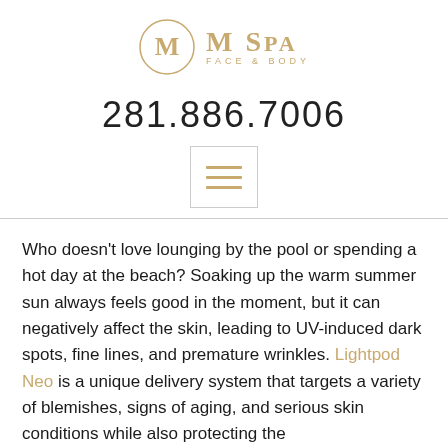[Figure (logo): M Spa Face & Body logo with circular M icon in gold/tan color]
281.886.7006
[Figure (other): Hamburger menu icon with three horizontal gold lines inside a square border]
Who doesn't love lounging by the pool or spending a hot day at the beach? Soaking up the warm summer sun always feels good in the moment, but it can negatively affect the skin, leading to UV-induced dark spots, fine lines, and premature wrinkles. Lightpod Neo is a unique delivery system that targets a variety of blemishes, signs of aging, and serious skin conditions while also protecting the